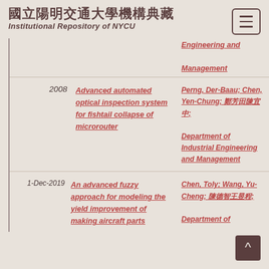國立陽明交通大學機構典藏 Institutional Repository of NYCU
Engineering and Management
2008 | Advanced automated optical inspection system for fishtail collapse of microrouter | Perng, Der-Baau; Chen, Yen-Chung; [Chinese text]; Department of Industrial Engineering and Management
1-Dec-2019 | An advanced fuzzy approach for modeling the yield improvement of making aircraft parts | Chen, Toly; Wang, Yu-Cheng; [Chinese text]; Department of